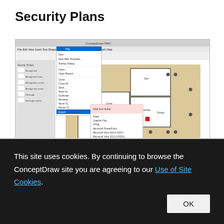Security Plans
[Figure (screenshot): ConceptDraw PRO application screenshot showing a security floor plan with a dropdown menu open displaying export/import options including PDF, HTML, Microsoft PowerPoint, Microsoft Visio formats. The floor plan shows a house layout with security symbols.]
This site uses cookies. By continuing to browse the ConceptDraw site you are agreeing to our Use of Site Cookies.